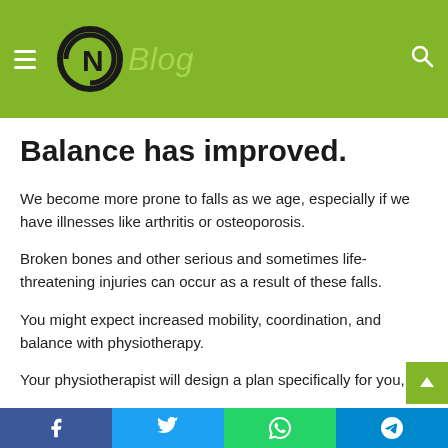((C)IN Blog
Balance has improved.
We become more prone to falls as we age, especially if we have illnesses like arthritis or osteoporosis.
Broken bones and other serious and sometimes life-threatening injuries can occur as a result of these falls.
You might expect increased mobility, coordination, and balance with physiotherapy.
Your physiotherapist will design a plan specifically for you,
Facebook  Twitter  WhatsApp  Telegram